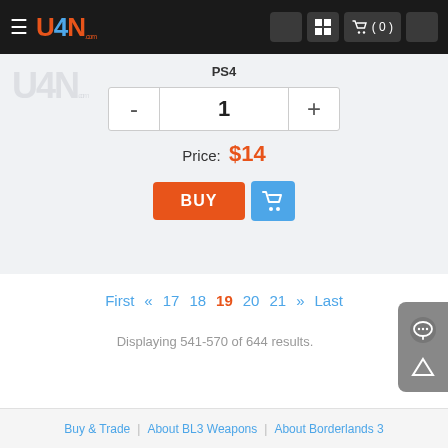U4N header navigation with logo, cart (0)
PS4
- 1 +
Price: $14
BUY
First « 17 18 19 20 21 » Last
Displaying 541-570 of 644 results.
Buy & Trade | About BL3 Weapons | About Borderlands 3